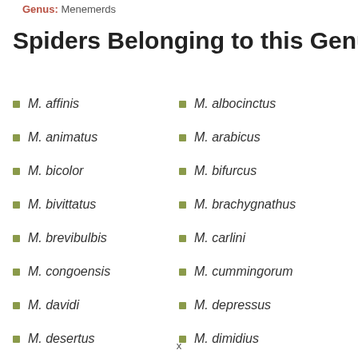Genus: Menemerds
Spiders Belonging to this Genus
M. affinis
M. albocinctus
M. animatus
M. arabicus
M. bicolor
M. bifurcus
M. bivittatus
M. brachygnathus
M. brevibulbis
M. carlini
M. congoensis
M. cummingorum
M. davidi
M. depressus
M. desertus
M. dimidius